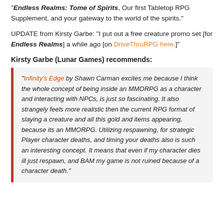"Endless Realms: Tome of Spirits, Our first Tabletop RPG Supplement, and your gateway to the world of the spirits."
UPDATE from Kirsty Garbe: "I put out a free creature promo set [for Endless Realms] a while ago [on DriveThruRPG here.]"
Kirsty Garbe (Lunar Games) recommends:
"Infinity's Edge by Shawn Carman excites me because I think the whole concept of being inside an MMORPG as a character and interacting with NPCs, is just so fascinating. It also strangely feels more realistic then the current RPG format of slaying a creature and all this gold and items appearing, because its an MMORPG. Utilizing respawning, for strategic Player character deaths, and timing your deaths also is such an interesting concept. It means that even if my character dies ill just respawn, and BAM my game is not ruined because of a character death."